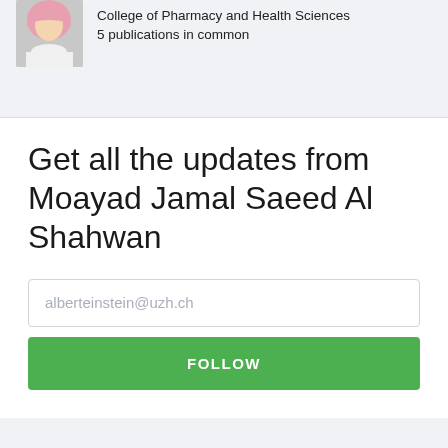[Figure (photo): Profile photo of a person wearing a pink hijab, partially visible at top left]
College of Pharmacy and Health Sciences
5 publications in common
Get all the updates from Moayad Jamal Saeed Al Shahwan
alberteinstein@uzh.ch
FOLLOW